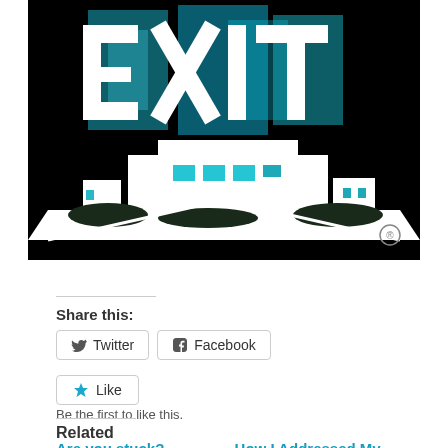[Figure (logo): EXIT realty logo — large teal/blue EXIT text with silhouette of a building beneath, on black background]
Share this:
Twitter  Facebook
Like  Be the first to like this.
Related
Are you stuck?  How I Addressed My